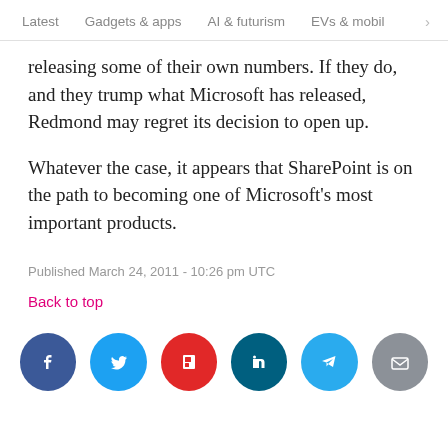Latest   Gadgets & apps   AI & futurism   EVs & mobil  >
releasing some of their own numbers. If they do, and they trump what Microsoft has released, Redmond may regret its decision to open up.
Whatever the case, it appears that SharePoint is on the path to becoming one of Microsoft’s most important products.
Published March 24, 2011 - 10:26 pm UTC
Back to top
[Figure (infographic): Row of 6 social media sharing icons: Facebook (dark blue), Twitter (light blue), Flipboard (red), LinkedIn (dark teal), Telegram (light blue), Email (gray)]